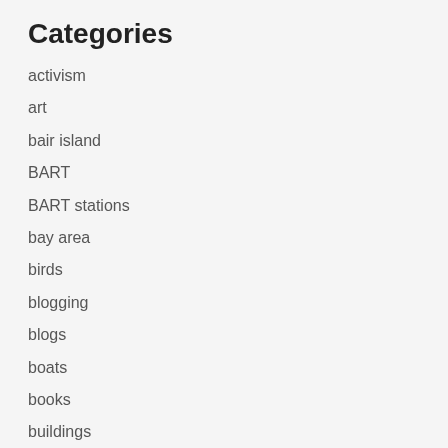Categories
activism
art
bair island
BART
BART stations
bay area
birds
blogging
blogs
boats
books
buildings